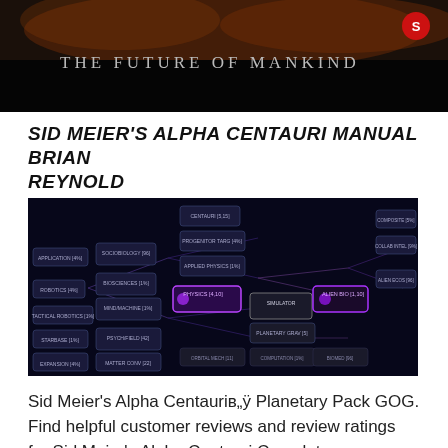[Figure (screenshot): Dark cinematic image with the text 'THE FUTURE OF MANKIND' centered in light gray letters, red logo icon in upper right corner]
SID MEIER'S ALPHA CENTAURI MANUAL BRIAN REYNOLD
[Figure (screenshot): Dark sci-fi technology tree screen from Sid Meier's Alpha Centauri game, showing interconnected node web with icons and text labels on a dark blue/purple background]
Sid Meier's Alpha Centauriв„ÿ Planetary Pack GOG. Find helpful customer reviews and review ratings for Sid Meier's Alpha Centauri Complete